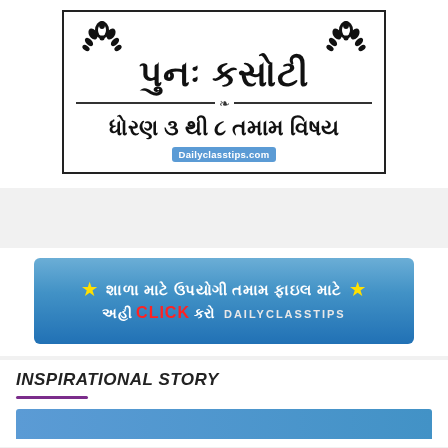[Figure (illustration): Gujarati educational banner in a bordered box showing 'પુનઃ કસોટી' (Re-Test) in large bold text, subtitle 'ધોરણ ૩ થી ૮ તમામ વિષય' (Standard 3 to 8 All Subjects), with decorative floral ornaments and Dailyclasstips.com badge]
[Figure (illustration): Blue gradient banner ad with yellow stars and Gujarati text for school files, with CLICK in red and DAILYCLASSTIPS text]
INSPIRATIONAL STORY
[Figure (illustration): Partial blue banner/preview at bottom of page]